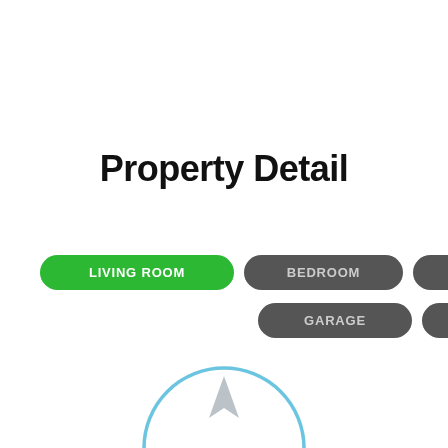Property Detail
[Figure (infographic): Navigation tabs showing room categories: LIVING ROOM (green/active), BEDROOM, BASEMENT, GARAGE, KITCHEN (all gray/inactive)]
[Figure (other): Partial compass/navigation icon showing upper arc and arrow, light blue outline with gray arrow]